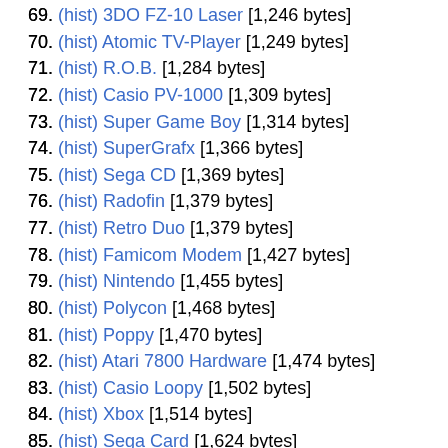69. (hist) 3DO FZ-10 Laser [1,246 bytes]
70. (hist) Atomic TV-Player [1,249 bytes]
71. (hist) R.O.B. [1,284 bytes]
72. (hist) Casio PV-1000 [1,309 bytes]
73. (hist) Super Game Boy [1,314 bytes]
74. (hist) SuperGrafx [1,366 bytes]
75. (hist) Sega CD [1,369 bytes]
76. (hist) Radofin [1,379 bytes]
77. (hist) Retro Duo [1,379 bytes]
78. (hist) Famicom Modem [1,427 bytes]
79. (hist) Nintendo [1,455 bytes]
80. (hist) Polycon [1,468 bytes]
81. (hist) Poppy [1,470 bytes]
82. (hist) Atari 7800 Hardware [1,474 bytes]
83. (hist) Casio Loopy [1,502 bytes]
84. (hist) Xbox [1,514 bytes]
85. (hist) Sega Card [1,624 bytes]
86. (hist) AY-3-8500 [1,670 bytes]
87. (hist) Videomaster Superscore VM-8 [1,678 bytes]